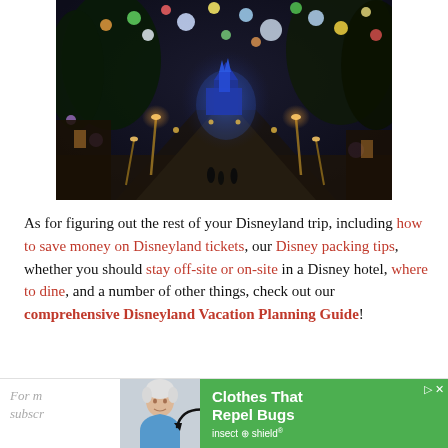[Figure (photo): Night-time photo of Disneyland's Main Street looking toward Cinderella Castle, lit up in blue, with colorful Christmas light bokeh (balloons/ornaments) overhead and warm street lights lining both sides of the road.]
As for figuring out the rest of your Disneyland trip, including how to save money on Disneyland tickets, our Disney packing tips, whether you should stay off-site or on-site in a Disney hotel, where to dine, and a number of other things, check out our comprehensive Disneyland Vacation Planning Guide!
For m... subscr...